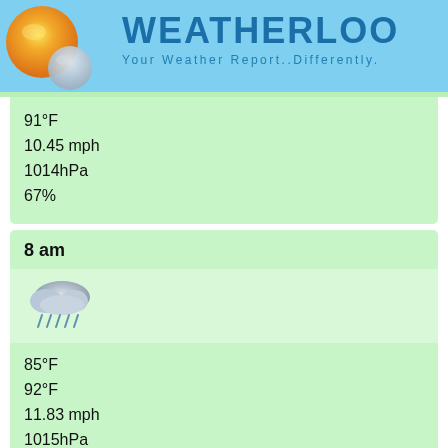WEATHERLOO - Your Weather Report..Differently.
91°F
10.45 mph
1014hPa
67%
8 am
[Figure (illustration): Rain cloud weather icon]
85°F
92°F
11.83 mph
1015hPa
69%
11 am